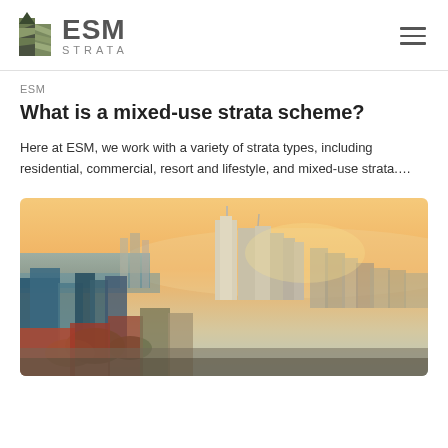ESM STRATA (logo and navigation)
ESM
What is a mixed-use strata scheme?
Here at ESM, we work with a variety of strata types, including residential, commercial, resort and lifestyle, and mixed-use strata....
[Figure (photo): Aerial cityscape photograph of a city skyline at sunset/golden hour, with tall modern buildings in the centre, waterway visible in the background to the left, and urban streets and lower buildings in the foreground.]